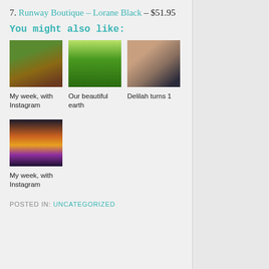7. Runway Boutique – Lorane Black – $51.95
You might also like:
[Figure (photo): Food photo showing salad greens, bread, and cooked dishes in bowls]
My week, with Instagram
[Figure (photo): Photo of a large tree with light streaming through green foliage]
Our beautiful earth
[Figure (photo): Photo of a smiling baby with a yellow cup on their head]
Delilah turns 1
[Figure (photo): Sunset over water with orange and purple sky]
My week, with Instagram
POSTED IN: UNCATEGORIZED